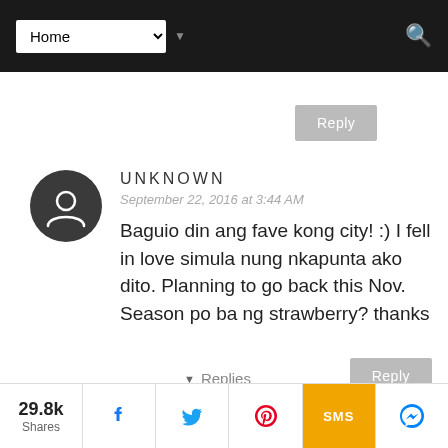[Figure (screenshot): Website navigation bar with Home dropdown and search icon]
[Figure (screenshot): Reply button (upper)]
UNKNOWN
September 22, 2016 at 3:44 AM
Baguio din ang fave kong city! :) I fell in love simula nung nkapunta ako dito. Planning to go back this Nov. Season po ba ng strawberry? thanks
[Figure (screenshot): Reply button (lower right)]
▾ Replies
[Figure (screenshot): Share bar with 29.8k shares, Facebook, Twitter, Pinterest, SMS, and Messenger buttons]